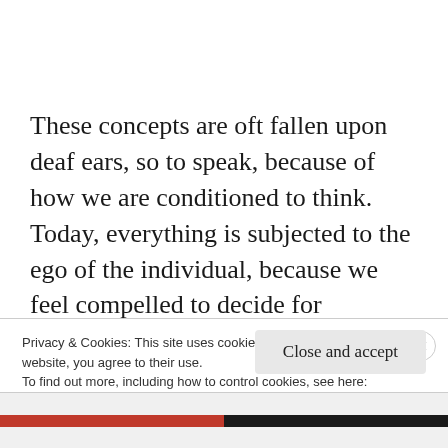These concepts are oft fallen upon deaf ears, so to speak, because of how we are conditioned to think. Today, everything is subjected to the ego of the individual, because we feel compelled to decide for ourselves, whether a teaching, belief, or idea, is in accordance with our way of
Privacy & Cookies: This site uses cookies. By continuing to use this website, you agree to their use.
To find out more, including how to control cookies, see here:
Cookie Policy
Close and accept